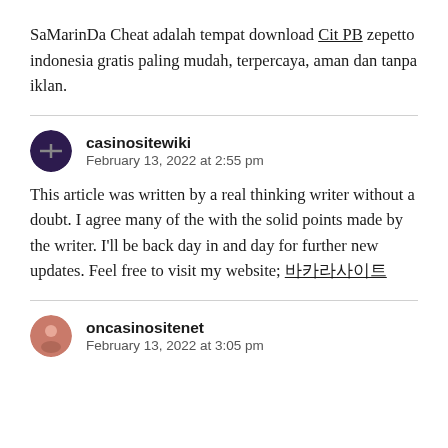SaMarinDa Cheat adalah tempat download Cit PB zepetto indonesia gratis paling mudah, terpercaya, aman dan tanpa iklan.
casinositewiki
February 13, 2022 at 2:55 pm
This article was written by a real thinking writer without a doubt. I agree many of the with the solid points made by the writer. I'll be back day in and day for further new updates. Feel free to visit my website; 바카라사이트
oncasinositenet
February 13, 2022 at 3:05 pm